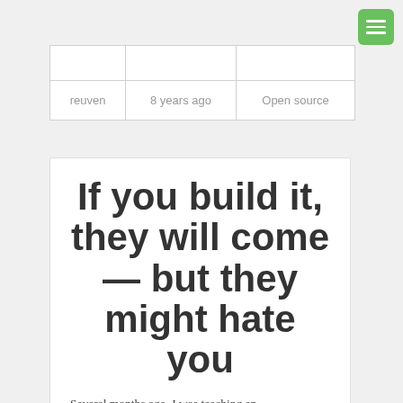[Figure (other): Green hamburger menu button in top right corner]
|  |  |  |
| reuven | 8 years ago | Open source |
If you build it, they will come — but they might hate you
Several months ago, I was teaching an